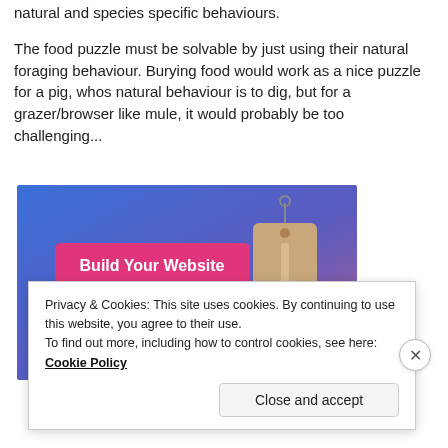natural and species specific behaviours.
The food puzzle must be solvable by just using their natural foraging behaviour. Burying food would work as a nice puzzle for a pig, whos natural behaviour is to dig, but for a grazer/browser like mule, it would probably be too challenging...
[Figure (screenshot): Advertisement banner with blue-to-purple gradient background, a pink 'Build Your Website' button on the left, and a tan/beige price tag icon on the right.]
Privacy & Cookies: This site uses cookies. By continuing to use this website, you agree to their use.
To find out more, including how to control cookies, see here: Cookie Policy
Close and accept